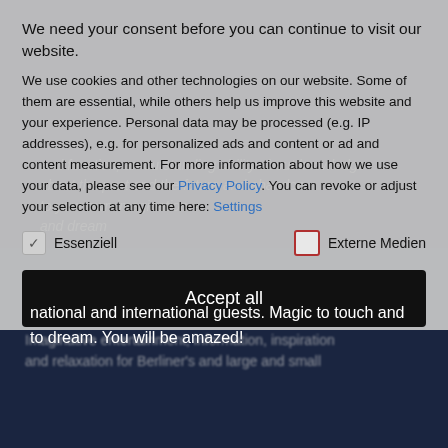We need your consent before you can continue to visit our website.
We use cookies and other technologies on our website. Some of them are essential, while others help us improve this website and your experience. Personal data may be processed (e.g. IP addresses), e.g. for personalized ads and content or ad and content measurement. For more information about how we use your data, please see our Privacy Policy. You can revoke or adjust your selection at any time here: Settings
Essenziell   Externe Medien
Accept all
national and international guests. Magic to touch and to dream. You will be amazed!